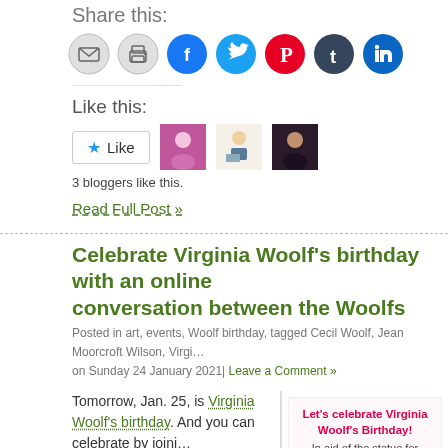Share this:
[Figure (infographic): Row of social sharing icon circles: email (grey), print (grey), Facebook (blue), Twitter (light blue), Pinterest (red), Tumblr (dark blue), LinkedIn (blue)]
Like this:
[Figure (infographic): Like button with star icon and three blogger avatar thumbnails]
3 bloggers like this.
Read Full Post »
Celebrate Virginia Woolf's birthday with an online conversation between the Woolfs
Posted in art, events, Woolf birthday, tagged Cecil Woolf, Jean Moorcroft Wilson, Virgi… on Sunday 24 January 2021| Leave a Comment »
Tomorrow, Jan. 25, is Virginia Woolf's birthday. And you can celebrate by joini… conversation about her life and work between the late Cecil Woolf, nephew of Leonard and
[Figure (infographic): Promotional image: 'Let's celebrate Virginia Woolf's Birthday! In aid of the statue for Virginia']